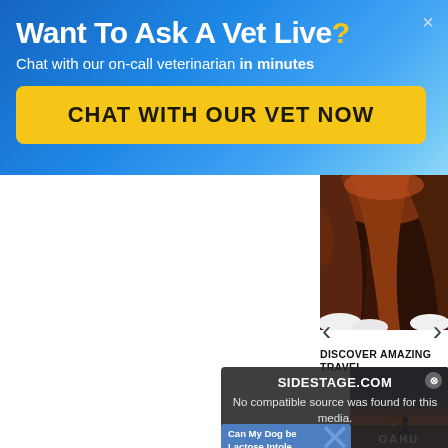Want To Ask A Vet Live?
Chat with our on-call veterinarian in minutes
CHAT WITH OUR VET NOW
[Figure (photo): Canyon rock formation photo strip on right side]
DISCOVER AMAZING TRAVEL
[Figure (screenshot): Overlay ad panel: SIDESTAGE.COM with message 'No compatible source was found for this media.' and a large X close button]
[Figure (photo): Travel destination photo showing sunset in Oahu with silhouetted figure]
Can My Dog be Lactose Intole...